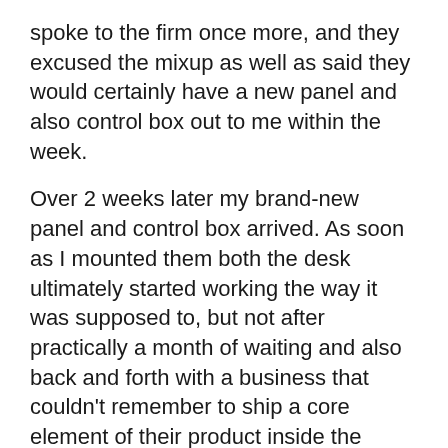spoke to the firm once more, and they excused the mixup as well as said they would certainly have a new panel and also control box out to me within the week.
Over 2 weeks later my brand-new panel and control box arrived. As soon as I mounted them both the desk ultimately started working the way it was supposed to, but not after practically a month of waiting and also back and forth with a business that couldn't remember to ship a core element of their product inside the same box from the beginning.
Points to Consider